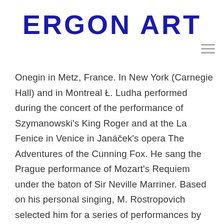ERGON ART
Onegin in Metz, France. In New York (Carnegie Hall) and in Montreal Ł. Ludha performed during the concert of the performance of Szymanowski's King Roger and at the La Fenice in Venice in Janáček's opera The Adventures of the Cunning Fox. He sang the Prague performance of Mozart's Requiem under the baton of Sir Neville Marriner. Based on his personal singing, M. Rostropovich selected him for a series of performances by Katerina Izmailovna (Zinovij), which took place in Madrid, Naples, Munich, Dojina and Buenos Aires. In Montpellier, meanwhile, he has successfully performed as Vitek in The